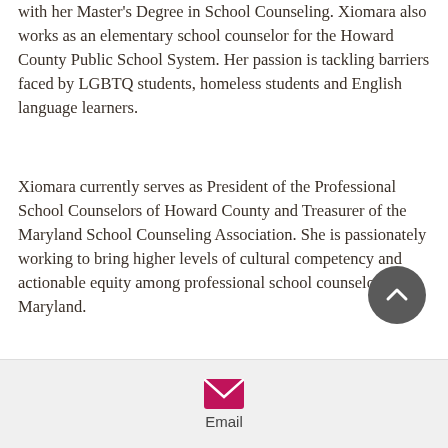with her Master's Degree in School Counseling. Xiomara also works as an elementary school counselor for the Howard County Public School System. Her passion is tackling barriers faced by LGBTQ students, homeless students and English language learners.
Xiomara currently serves as President of the Professional School Counselors of Howard County and Treasurer of the Maryland School Counseling Association. She is passionately working to bring higher levels of cultural competency and actionable equity among professional school counselors in Maryland.
However, Xiomara's most important role is being a mom to her son Xavier.
[Figure (other): Dark grey circular back-to-top button with upward chevron arrow icon]
[Figure (other): Footer bar with pink email envelope icon and 'Email' label]